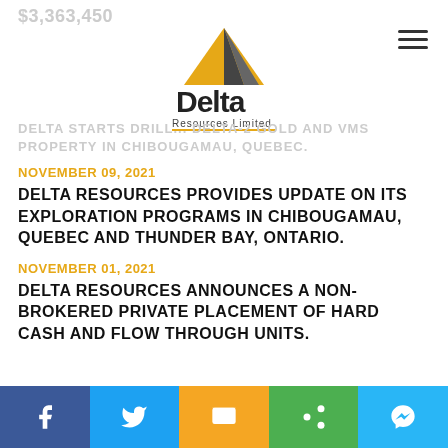$3,363,450
[Figure (logo): Delta Resources Limited logo with pyramid icon in gold and dark colors]
DELTA STARTS DRILL... DELTA-2 GOLD AND VMS PROPERTY IN CHIBOUGAMAU, QUEBEC.
NOVEMBER 09, 2021
DELTA RESOURCES PROVIDES UPDATE ON ITS EXPLORATION PROGRAMS IN CHIBOUGAMAU, QUEBEC AND THUNDER BAY, ONTARIO.
NOVEMBER 01, 2021
DELTA RESOURCES ANNOUNCES A NON-BROKERED PRIVATE PLACEMENT OF HARD CASH AND FLOW THROUGH UNITS.